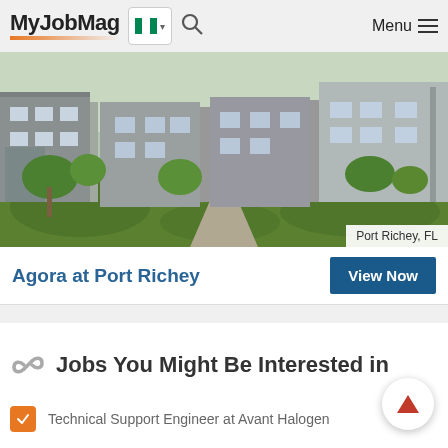MyJobMag — Menu
[Figure (photo): Exterior photo of Agora at Port Richey apartment complex with green lawn, pathway, and buildings with staircases. Location badge: Port Richey, FL. Blue 'View Now' button and blue text 'Agora at Port Richey' below.]
Jobs You Might Be Interested in
Technical Support Engineer at Avant Halogen
Software Developer at Libra Motors Limited
Software Developer at Libra Motors Limited